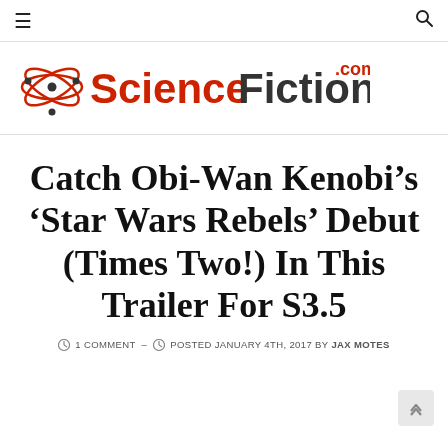≡  🔍
[Figure (logo): ScienceFiction.com logo with atom graphic and red/dark text]
Catch Obi-Wan Kenobi's 'Star Wars Rebels' Debut (Times Two!) In This Trailer For S3.5
1 COMMENT –  POSTED JANUARY 4TH, 2017 BY JAX MOTES